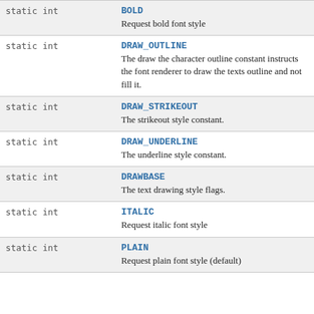| Type | Field/Description |
| --- | --- |
| static int | BOLD
Request bold font style |
| static int | DRAW_OUTLINE
The draw the character outline constant instructs the font renderer to draw the texts outline and not fill it. |
| static int | DRAW_STRIKEOUT
The strikeout style constant. |
| static int | DRAW_UNDERLINE
The underline style constant. |
| static int | DRAWBASE
The text drawing style flags. |
| static int | ITALIC
Request italic font style |
| static int | PLAIN
Request plain font style (default) |